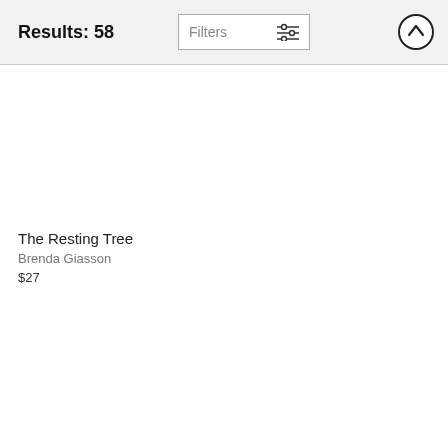Results: 58
Filters
The Resting Tree
Brenda Giasson
$27